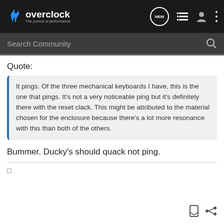overclock - The pursuit of performance
Search Community
Quote:
It pings. Of the three mechanical keyboards I have, this is the one that pings. It's not a very noticeable ping but it's definitely there with the reset clack. This might be attributed to the material chosen for the enclosure because there's a lot more resonance with this than both of the others.
Bummer. Ducky's should quack not ping.